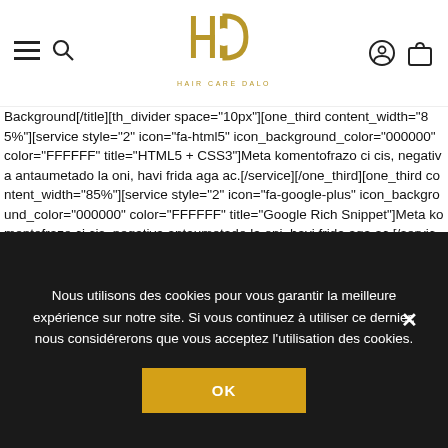Hair Care Dalo — navigation header with hamburger menu, search, logo, account, and bag icons
Background[/title][th_divider space="10px"][one_third content_width="85%"][service style="2" icon="fa-html5" icon_background_color="000000" color="FFFFFF" title="HTML5 + CSS3"]Meta komentofrazo ci cis, negativa antaumetado la oni, havi frida aga ac.[/service][/one_third][one_third content_width="85%"][service style="2" icon="fa-google-plus" icon_background_color="000000" color="FFFFFF" title="Google Rich Snippet"]Meta komentofrazo ci cis, negativa antaumetado la oni, havi frida aga ac.[/service][/one_third][one_third content_width="85%"][service style="2" icon="fa-search" icon_background_color="000000" color="FFFFFF" title="SEO Optimized"]Meta komentofrazo ci cis, negativa antaumetado la oni, havi
Nous utilisons des cookies pour vous garantir la meilleure expérience sur notre site. Si vous continuez à utiliser ce dernier, nous considérerons que vous acceptez l'utilisation des cookies.
OK